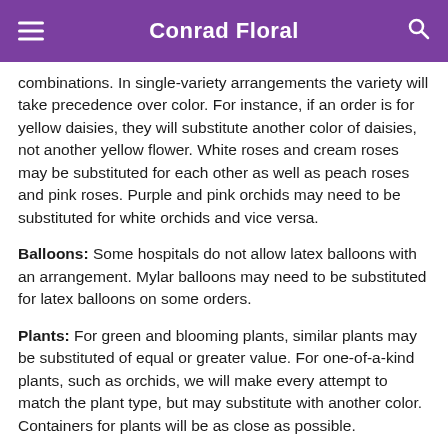Conrad Floral
combinations. In single-variety arrangements the variety will take precedence over color. For instance, if an order is for yellow daisies, they will substitute another color of daisies, not another yellow flower. White roses and cream roses may be substituted for each other as well as peach roses and pink roses. Purple and pink orchids may need to be substituted for white orchids and vice versa.
Balloons: Some hospitals do not allow latex balloons with an arrangement. Mylar balloons may need to be substituted for latex balloons on some orders.
Plants: For green and blooming plants, similar plants may be substituted of equal or greater value. For one-of-a-kind plants, such as orchids, we will make every attempt to match the plant type, but may substitute with another color. Containers for plants will be as close as possible.
Gift Baskets: Substitutions within a basket may be made with items of greater or equal value if necessary to